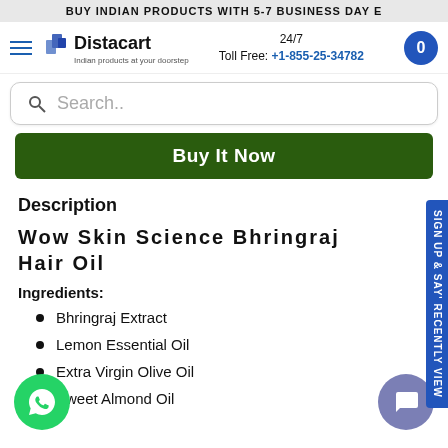BUY INDIAN PRODUCTS WITH 5-7 BUSINESS DAY E
[Figure (logo): Distacart logo with tagline 'Indian products at your doorstep']
24/7 Toll Free: +1-855-25-34782
Search..
Buy It Now
Description
Wow Skin Science Bhringraj Hair Oil
Ingredients:
Bhringraj Extract
Lemon Essential Oil
Extra Virgin Olive Oil
Sweet Almond Oil